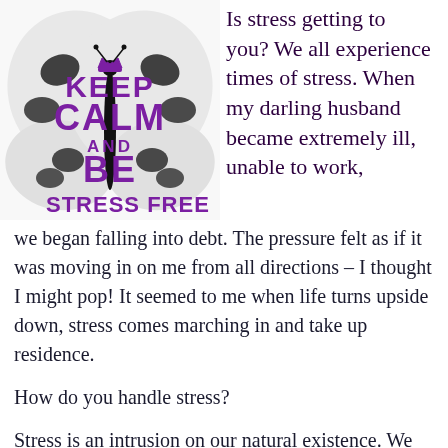[Figure (illustration): Keep Calm and Be Stress Free poster overlaid on a black and white butterfly image]
Is stress getting to you? We all experience times of stress. When my darling husband became extremely ill, unable to work,
we began falling into debt. The pressure felt as if it was moving in on me from all directions – I thought I might pop! It seemed to me when life turns upside down, stress comes marching in and take up residence.
How do you handle stress?
Stress is an intrusion on our natural existence. We all strive for an orderly and peaceful life.